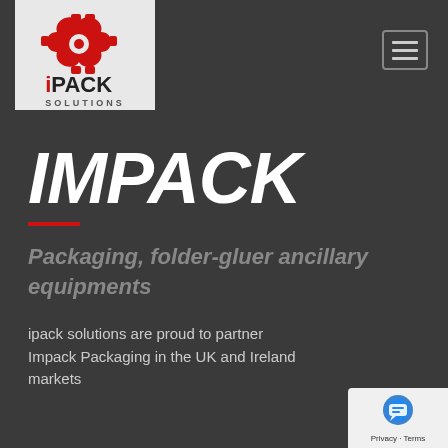[Figure (logo): iPACK Solutions logo — red gear/puzzle piece icon with text 'iPACK SOLUTIONS' on a light grey background]
IMPACK
Packaging, folder-gluer ancillary equipments
ipack solutions are proud to partner Impack Packaging in the UK and Ireland markets